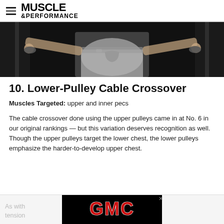MUSCLE &PERFORMANCE
[Figure (photo): Person doing cable crossover exercise at a gym, shown from the waist down, holding cable handles on both sides, wearing grey sweatpants.]
10. Lower-Pulley Cable Crossover
Muscles Targeted: upper and inner pecs
The cable crossover done using the upper pulleys came in at No. 6 in our original rankings — but this variation deserves recognition as well. Though the upper pulleys target the lower chest, the lower pulleys emphasize the harder-to-develop upper chest.
As with [GMC ad overlay] ous tension [GMC ad overlay]
[Figure (photo): GMC advertisement banner in black background with red GMC logo text.]